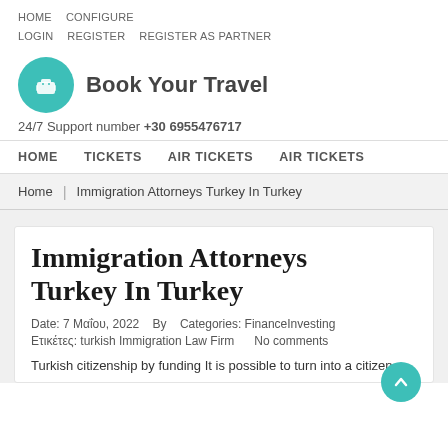HOME  CONFIGURE  LOGIN  REGISTER  REGISTER AS PARTNER
[Figure (logo): Book Your Travel logo with teal circular icon containing luggage graphic and bold text 'Book Your Travel']
24/7 Support number +30 6955476717
HOME  TICKETS  AIR TICKETS  AIR TICKETS
Home | Immigration Attorneys Turkey In Turkey
Immigration Attorneys Turkey In Turkey
Date: 7 Μαΐου, 2022  By  Categories: FinanceInvesting  Ετικέτες: turkish Immigration Law Firm  No comments
Turkish citizenship by funding It is possible to turn into a citizen